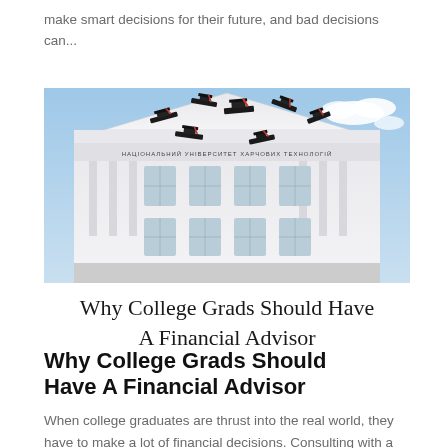make smart decisions for their future, and bad decisions can...
[Figure (photo): Graduation caps being tossed in the air in front of a large university building with Cyrillic text on its facade, blue sky with clouds in background.]
Why College Grads Should Have A Financial Advisor
Why College Grads Should Have A Financial Advisor
When college graduates are thrust into the real world, they have to make a lot of financial decisions. Consulting with a financial advisor can help make